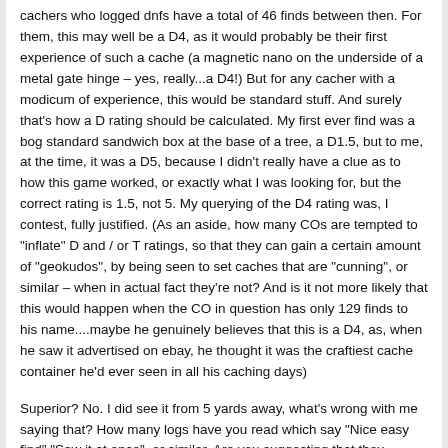cachers who logged dnfs have a total of 46 finds between then. For them, this may well be a D4, as it would probably be their first experience of such a cache (a magnetic nano on the underside of a metal gate hinge – yes, really...a D4!) But for any cacher with a modicum of experience, this would be standard stuff. And surely that's how a D rating should be calculated. My first ever find was a bog standard sandwich box at the base of a tree, a D1.5, but to me, at the time, it was a D5, because I didn't really have a clue as to how this game worked, or exactly what I was looking for, but the correct rating is 1.5, not 5. My querying of the D4 rating was, I contest, fully justified. (As an aside, how many COs are tempted to "inflate" D and / or T ratings, so that they can gain a certain amount of "geokudos", by being seen to set caches that are "cunning", or similar – when in actual fact they're not? And is it not more likely that this would happen when the CO in question has only 129 finds to his name....maybe he genuinely believes that this is a D4, as, when he saw it advertised on ebay, he thought it was the craftiest cache container he'd ever seen in all his caching days)
Superior? No. I did see it from 5 yards away, what's wrong with me saying that? How many logs have you read which say "Nice easy find" "Saw it at once", or similar. Are you suggesting that they